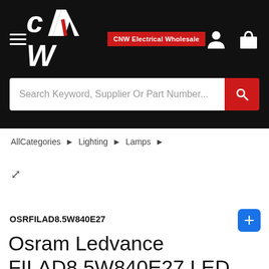CNW Electrical Wholesale — navigation header with hamburger menu, CNW logo, search bar, user icon, and cart icon
Search Keyword, Supplier Or Part Number...
AllCategories ▶ Lighting ▶ Lamps ▶
OSRFILAD8.5W840E27
Osram Ledvance FILAD8.5W840E27 LED Lamp, Classic Filament, 240V, 8.5W,